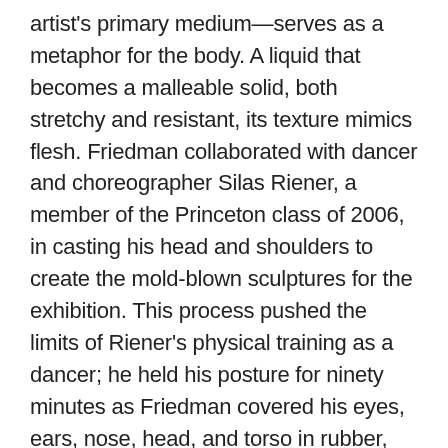artist's primary medium—serves as a metaphor for the body. A liquid that becomes a malleable solid, both stretchy and resistant, its texture mimics flesh. Friedman collaborated with dancer and choreographer Silas Riener, a member of the Princeton class of 2006, in casting his head and shoulders to create the mold-blown sculptures for the exhibition. This process pushed the limits of Riener's physical training as a dancer; he held his posture for ninety minutes as Friedman covered his eyes, ears, nose, head, and torso in rubber, withstanding heat and breathing through a small slit at his mouth. Friedman suspends his animation in sculpture, freezing his body in time.
The result of their collaboration is Mummy Wheat, a series of sculptures that combine